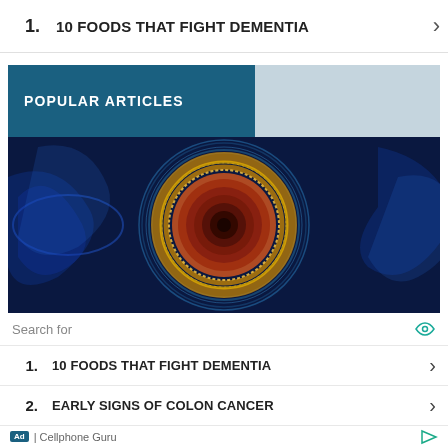1. 10 FOODS THAT FIGHT DEMENTIA ›
POPULAR ARTICLES
[Figure (illustration): Scientific 3D illustration of a neuron or cell structure with concentric orange-gold rings on a blue glowing background, suggesting brain or biological science imagery.]
Search for
1. 10 FOODS THAT FIGHT DEMENTIA ›
2. EARLY SIGNS OF COLON CANCER ›
Ad | Cellphone Guru